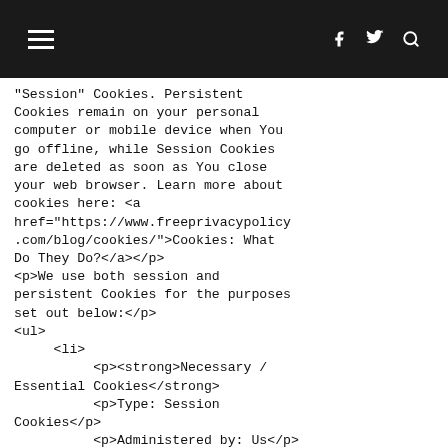Navigation header with hamburger menu, Facebook, Twitter, and Search icons
"Session" Cookies. Persistent Cookies remain on your personal computer or mobile device when You go offline, while Session Cookies are deleted as soon as You close your web browser. Learn more about cookies here: <a href="https://www.freeprivacypolicy.com/blog/cookies/">Cookies: What Do They Do?</a></p>
<p>We use both session and persistent Cookies for the purposes set out below:</p>
<ul>
     <li>
          <p><strong>Necessary / Essential Cookies</strong>
          <p>Type: Session Cookies</p>
          <p>Administered by: Us</p>
          <p>Purpose: These Cookies are essential to provide You with services available through the Website and to enable You to use some of its features. They help to